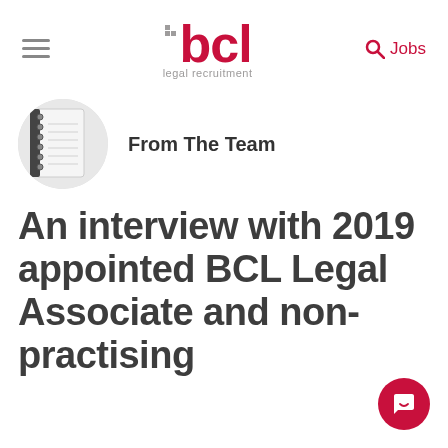[Figure (logo): BCL Legal Recruitment logo with hamburger menu icon and Jobs search link in header navigation bar]
[Figure (photo): Circular cropped image of a notebook/notepad on a white background]
From The Team
An interview with 2019 appointed BCL Legal Associate and non-practising